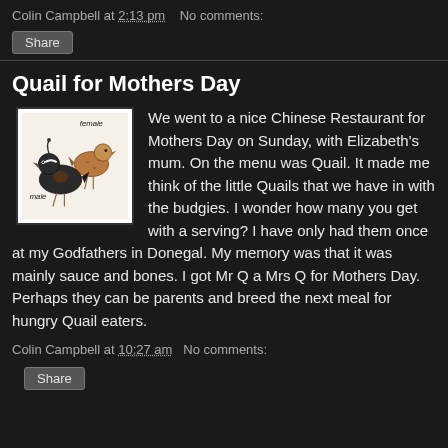Colin Campbell at 2:13 pm   No comments:
Share
Quail for Mothers Day
[Figure (illustration): Illustration of two quail birds, labeled 'female' (top right) and 'male' (bottom left), on a light background]
We went to a nice Chinese Restaurant for Mothers Day on Sunday, with Elizabeth's mum. On the menu was Quail. It made me think of the little Quails that we have in with the budgies. I wonder how many you get with a serving? I have only had them once at my Godfathers in Donegal. My memory was that it was mainly sauce and bones. I got Mr Q a Mrs Q for Mothers Day. Perhaps they can be parents and breed the next meal for hungry Quail eaters.
Colin Campbell at 10:27 am   No comments:
Share